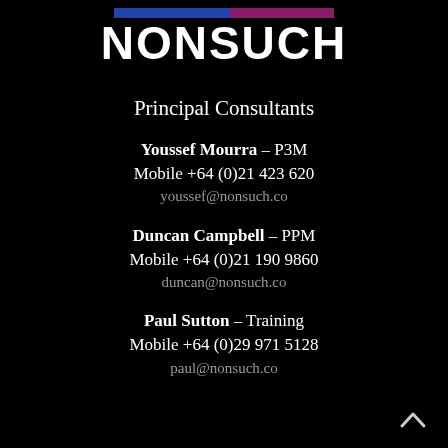[Figure (logo): Nonsuch company logo with two colored bars (blue and purple) above the text NONSUCH in large white bold letters on black background]
Principal Consultants
Youssef Mourra – P3M
Mobile +64 (0)21 423 620
youssef@nonsuch.co
Duncan Campbell – PPM
Mobile +64 (0)21 190 9860
duncan@nonsuch.co
Paul Sutton – Training
Mobile +64 (0)29 971 5128
paul@nonsuch.co